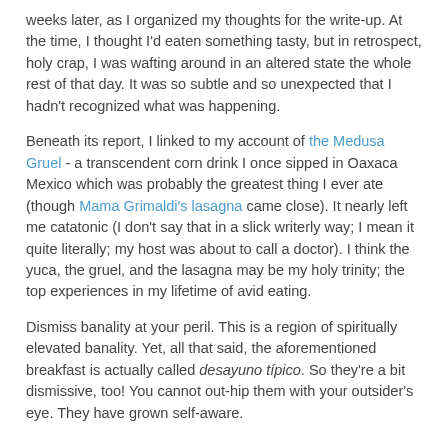weeks later, as I organized my thoughts for the write-up. At the time, I thought I'd eaten something tasty, but in retrospect, holy crap, I was wafting around in an altered state the whole rest of that day. It was so subtle and so unexpected that I hadn't recognized what was happening.
Beneath its report, I linked to my account of the Medusa Gruel - a transcendent corn drink I once sipped in Oaxaca Mexico which was probably the greatest thing I ever ate (though Mama Grimaldi's lasagna came close). It nearly left me catatonic (I don't say that in a slick writerly way; I mean it quite literally; my host was about to call a doctor). I think the yuca, the gruel, and the lasagna may be my holy trinity; the top experiences in my lifetime of avid eating.
Dismiss banality at your peril. This is a region of spiritually elevated banality. Yet, all that said, the aforementioned breakfast is actually called desayuno típico. So they're a bit dismissive, too! You cannot out-hip them with your outsider's eye. They have grown self-aware.